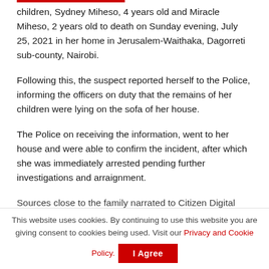children, Sydney Miheso, 4 years old and Miracle Miheso, 2 years old to death on Sunday evening, July 25, 2021 in her home in Jerusalem-Waithaka, Dagorreti sub-county, Nairobi.
Following this, the suspect reported herself to the Police, informing the officers on duty that the remains of her children were lying on the sofa of her house.
The Police on receiving the information, went to her house and were able to confirm the incident, after which she was immediately arrested pending further investigations and arraignment.
Sources close to the family narrated to Citizen Digital
This website uses cookies. By continuing to use this website you are giving consent to cookies being used. Visit our Privacy and Cookie Policy.
I Agree